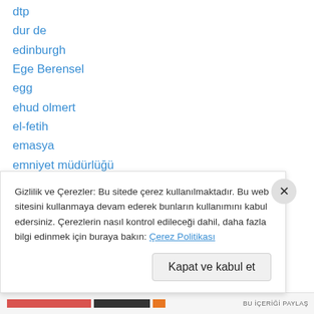dtp
dur de
edinburgh
Ege Berensel
egg
ehud olmert
el-fetih
emasya
emniyet müdürlüğü
empusa
erdoğan
ergenekon
erkan özden
Gizlilik ve Çerezler: Bu sitede çerez kullanılmaktadır. Bu web sitesini kullanmaya devam ederek bunların kullanımını kabul edersiniz. Çerezlerin nasıl kontrol edileceği dahil, daha fazla bilgi edinmek için buraya bakın: Çerez Politikası
Kapat ve kabul et